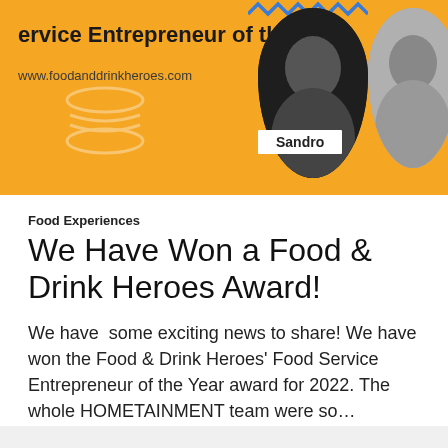[Figure (photo): Orange banner/header image for Food and Drink Heroes award. Shows text 'ervice Entrepreneur of the Year' and website URL 'www.foodanddrinkheroes.com', with a burger icon outline, a name label reading 'Sandro', and two circular portrait photos on the right side against an orange background with zigzag decoration.]
Food Experiences
We Have Won a Food & Drink Heroes Award!
We have  some exciting news to share! We have won the Food & Drink Heroes' Food Service Entrepreneur of the Year award for 2022. The whole HOMETAINMENT team were so…
Keep reading
8th August 2022